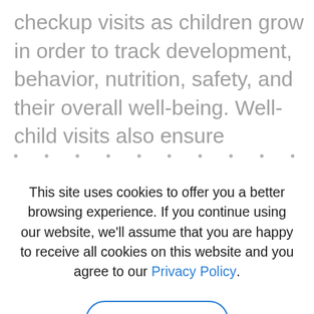checkup visits as children grow in order to track development, behavior, nutrition, safety, and their overall well-being. Well-child visits also ensure
This site uses cookies to offer you a better browsing experience. If you continue using our website, we'll assume that you are happy to receive all cookies on this website and you agree to our Privacy Policy.
I Accept